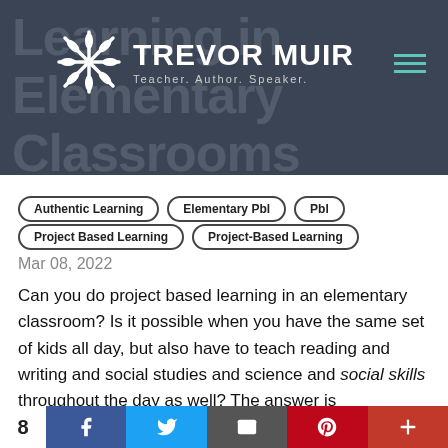Trevor Muir — Teacher. Author. Speaker.
Learning in Elementary Classrooms
Authentic Learning
Elementary Pbl
Pbl
Project Based Learning
Project-Based Learning
Mar 08, 2022
Can you do project based learning in an elementary classroom? Is it possible when you have the same set of kids all day, but also have to teach reading and writing and social studies and science and social skills throughout the day as well? The answer is unequivocally yes,